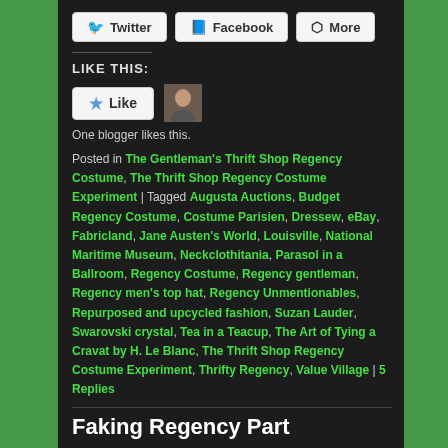[Figure (other): Share buttons row: Twitter, Facebook, More]
LIKE THIS:
[Figure (other): Like button with star icon and blogger avatar thumbnail]
One blogger likes this.
Posted in The Gentleman's Thrift Shop Regency Costume, The Thrift Shop Regency Costume Experiment | Tagged Augusta Auctions, Budget Regency Costume, Costume Parisien, Dressew, eBay, Fabricland, Jane Austen's World, Louisville, National Maritime Museum, Neckclothitania, Parasol in a Ballroom, Regency Costume, Regency gentleman, Regency men's top hat, Regency Unmentionables, Repurposed and upcycled fashion, Suzan Lauder, Swarovski crystal, Tea in a Teacup, The Art of Tying a Cravat by H. Le Blanc, The Thrift Shop Regency Costume Experiment, Thrifty Regency, Value Village | 5 Replies
Faking Regency Part